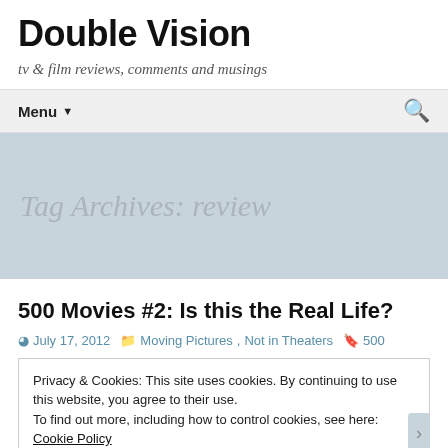Double Vision
tv & film reviews, comments and musings
Menu ▼
Tag Archives: review
500 Movies #2: Is this the Real Life?
July 17, 2012   Moving Pictures, Not in Theaters   500
Privacy & Cookies: This site uses cookies. By continuing to use this website, you agree to their use.
To find out more, including how to control cookies, see here: Cookie Policy
Close and accept